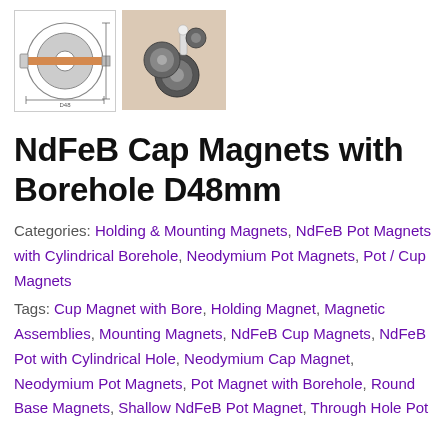[Figure (illustration): Two product thumbnail images: left shows a technical diagram/schematic of the NdFeB cap magnet with borehole, right shows a photo of the physical magnets.]
NdFeB Cap Magnets with Borehole D48mm
Categories: Holding & Mounting Magnets, NdFeB Pot Magnets with Cylindrical Borehole, Neodymium Pot Magnets, Pot / Cup Magnets
Tags: Cup Magnet with Bore, Holding Magnet, Magnetic Assemblies, Mounting Magnets, NdFeB Cup Magnets, NdFeB Pot with Cylindrical Hole, Neodymium Cap Magnet, Neodymium Pot Magnets, Pot Magnet with Borehole, Round Base Magnets, Shallow NdFeB Pot Magnet, Through Hole Pot